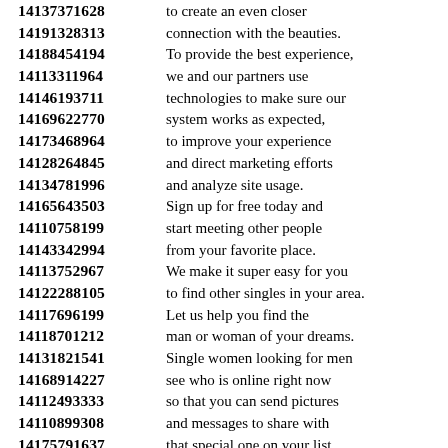14137371628 to create an even closer
14191328313 connection with the beauties.
14188454194 To provide the best experience,
14113311964 we and our partners use
14146193711 technologies to make sure our
14169622770 system works as expected,
14173468964 to improve your experience
14128264845 and direct marketing efforts
14134781996 and analyze site usage.
14165643503 Sign up for free today and
14110758199 start meeting other people
14143342994 from your favorite place.
14113752967 We make it super easy for you
14122288105 to find other singles in your area.
14117696199 Let us help you find the
14118701212 man or woman of your dreams.
14131821541 Single women looking for men
14168914227 see who is online right now
14112493333 so that you can send pictures
14110899308 and messages to share with
14175791637 that special one on your list.
14167324152 We invite all members and
14133870507 visitors from all over the world
14166833525 to join our global network
14154351215 making the search for love
14174783799 …